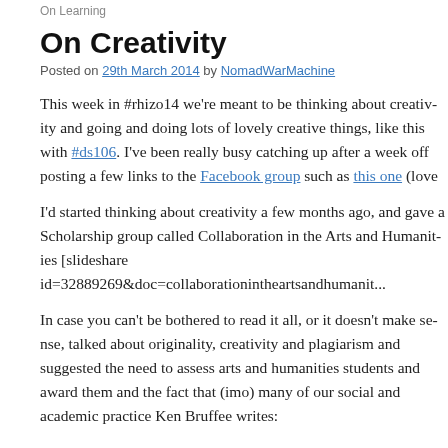On Learning
On Creativity
Posted on 29th March 2014 by NomadWarMachine
This week in #rhizo14 we're meant to be thinking about creativity and going and doing lots of lovely creative things, like this with #ds106. I've been really busy catching up after a week off posting a few links to the Facebook group such as this one (love
I'd started thinking about creativity a few months ago, and gave a Scholarship group called Collaboration in the Arts and Humanities [slideshare id=32889269&doc=collaborationintheartsandhuman
In case you can't be bothered to read it all, or it doesn't make sense, talked about originality, creativity and plagiarism and suggested the need to assess arts and humanities students and award them and the fact that (imo) many of our social and academic practices Ken Bruffee writes: